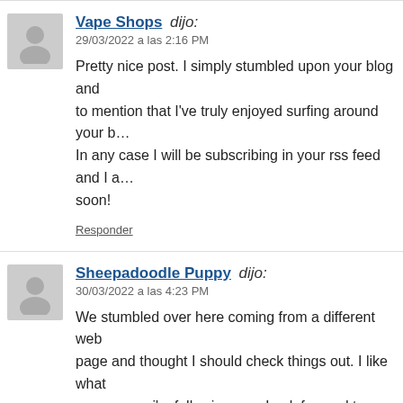Vape Shops dijo: 29/03/2022 a las 2:16 PM
Pretty nice post. I simply stumbled upon your blog and to mention that I've truly enjoyed surfing around your blog. In any case I will be subscribing in your rss feed and I a... soon!
Responder
Sheepadoodle Puppy dijo: 30/03/2022 a las 4:23 PM
We stumbled over here coming from a different web page and thought I should check things out. I like what see so now i'm following you. Look forward to checking your web page for a second time.
Responder